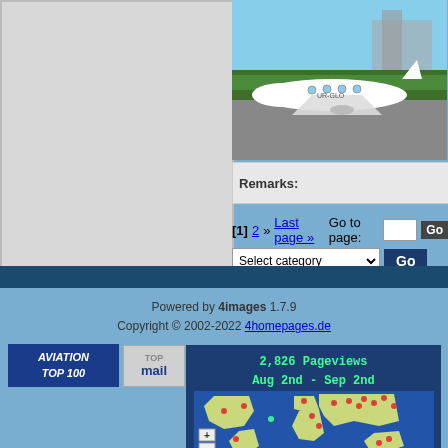[Figure (photo): Aircraft (business jet) on airport tarmac with green grass background and buildings]
Remarks:
[1] 2 » Last page » Go to page:
Select category
Powered by 4images 1.7.9
Copyright © 2002-2022 4homepages.de
[Figure (logo): AVIATION TOP 100 badge]
[Figure (logo): TOP mail badge]
[Figure (logo): hotlog badge with stats 236 299 +22]
[Figure (logo): Рамблер ТОП100 badge]
[Figure (infographic): 2,826 Pageviews Aug 2nd - Sep 2nd world map with visitor dots]